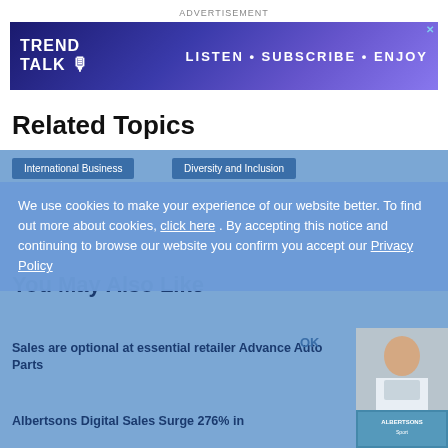[Figure (other): Advertisement banner for Trend Talk podcast: LISTEN • SUBSCRIBE • ENJOY]
Related Topics
International Business
Diversity and Inclusion
We use cookies to make your experience of our website better. To find out more about cookies, click here . By accepting this notice and continuing to browse our website you confirm you accept our Privacy Policy
You May Also Like
Sales are optional at essential retailer Advance Auto Parts
Albertsons Digital Sales Surge 276% in